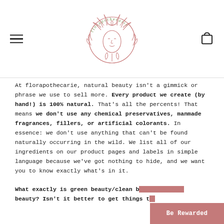[Figure (logo): Florapothecarie circular logo featuring a woman's face surrounded by botanical leaves and flowers, with text 'florapothecarie' arched around the top in olive/green color, and the illustration in pink/rose outline style]
At florapothecarie, natural beauty isn't a gimmick or phrase we use to sell more. Every product we create (by hand!) is 100% natural. That's all the percents! That means we don't use any chemical preservatives, manmade fragrances, fillers, or artificial colorants. In essence: we don't use anything that can't be found naturally occurring in the wild. We list all of our ingredients on our product pages and labels in simple language because we've got nothing to hide, and we want you to know exactly what's in it.
What exactly is green beauty/clean beauty/natural beauty? Isn't it better to get things t…